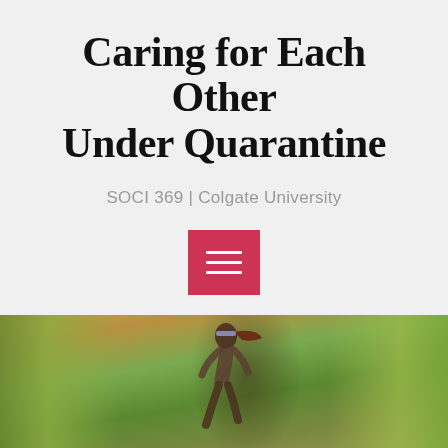Caring for Each Other Under Quarantine
SOCI 369 | Colgate University
[Figure (other): Red hamburger menu button with three white horizontal lines on a light gray background]
[Figure (photo): Outdoor photo of a person with a ponytail and headband running through a forest with autumn foliage trees in warm golden tones]
LOSS AND GRIEVING
One Step at a Time